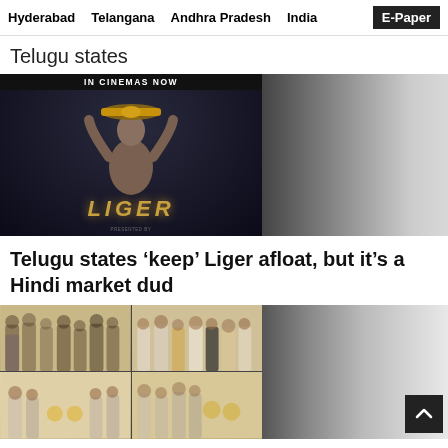Hyderabad   Telangana   Andhra Pradesh   India   E-Paper
Telugu states
[Figure (photo): Movie poster for 'Liger' showing a muscular fighter holding up a championship belt, with text 'IN CINEMAS NOW' at top and 'LIGER' at bottom]
Telugu states ‘keep’ Liger afloat, but it’s a Hindi market dud
[Figure (photo): Group photos of people at what appears to be a film event, arranged in a 2x2 grid collage]